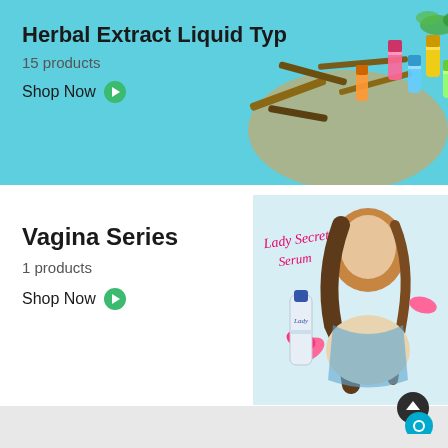[Figure (photo): Herbal Extract Liquid Type product banner with cyan/teal background, herbs and colorful product bottles in a bowl on the right]
Herbal Extract Liquid Typ
15 products
Shop Now
[Figure (photo): Vagina Series product banner with woman model and Lady Secret Serum product bottle on white/light blue background]
Vagina Series
1 products
Shop Now